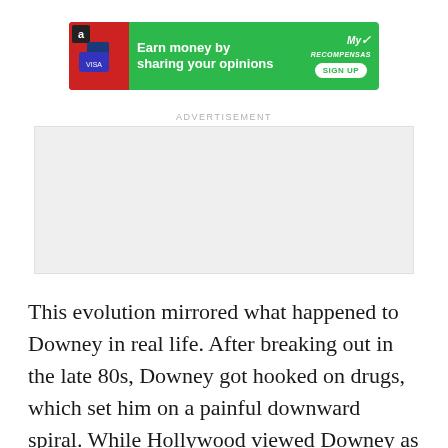[Figure (other): Green advertisement banner reading 'Earn money by sharing your opinions' with a SIGN UP button and MyRecompensas logo, Amazon and credit card icons on the left side]
ADVERTISEMENT
[Figure (other): Empty light gray advertisement placeholder rectangle]
This evolution mirrored what happened to Downey in real life. After breaking out in the late 80s, Downey got hooked on drugs, which set him on a painful downward spiral. While Hollywood viewed Downey as extremely talented, he also gained a reputation for being